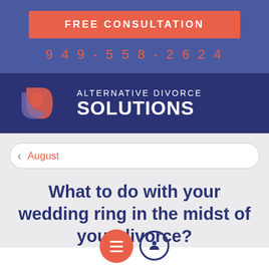FREE CONSULTATION
949-558-2624
[Figure (logo): Alternative Divorce Solutions logo with stylized red/blue curved shapes icon and white text reading ALTERNATIVE DIVORCE SOLUTIONS on dark navy blue background]
August
What to do with your wedding ring in the midst of your divorce?